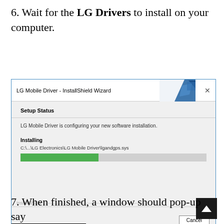6. Wait for the LG Drivers to install on your computer.
[Figure (screenshot): LG Mobile Driver InstallShield Wizard dialog showing Setup Status. Text reads: 'LG Mobile Driver is configuring your new software installation.' Installing label with file path C:\...\LG Electronics\LG Mobile Driver\lgandgps.sys and a green progress bar about 42% complete. Cancel button at bottom right. AndroidUSBDrivers.com watermark at bottom left.]
7. When finished, a window should pop-up say "LG Mobile Driver Installed Successfully!"